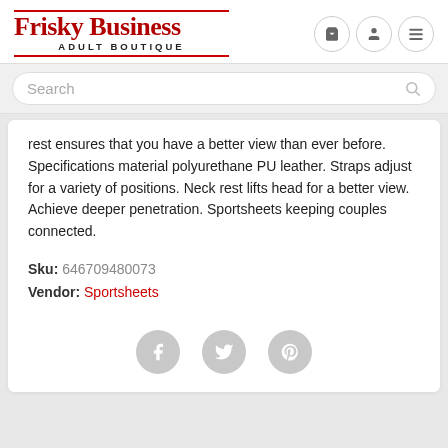Frisky Business ADULT BOUTIQUE
rest ensures that you have a better view than ever before. Specifications material polyurethane PU leather. Straps adjust for a variety of positions. Neck rest lifts head for a better view. Achieve deeper penetration. Sportsheets keeping couples connected.
Sku: 646709480073
Vendor: Sportsheets